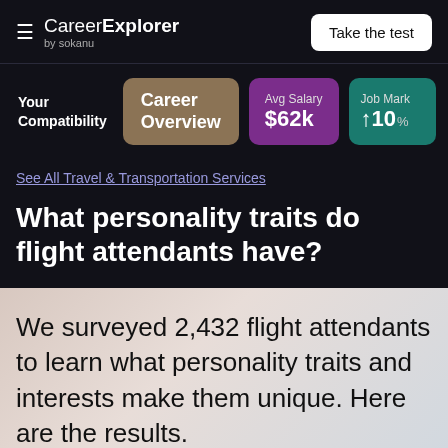CareerExplorer by sokanu | Take the test
Your Compatibility | Career Overview | Avg Salary $62k | Job Market ↑10%
See All Travel & Transportation Services
What personality traits do flight attendants have?
We surveyed 2,432 flight attendants to learn what personality traits and interests make them unique. Here are the results.